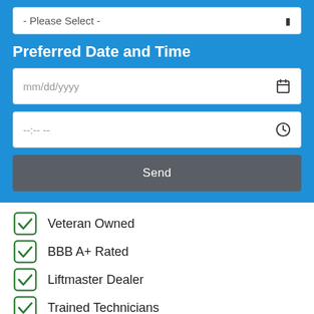- Please Select -
Preferred Date and Time
mm/dd/yyyy
--:-- --
Send
Veteran Owned
BBB A+ Rated
Liftmaster Dealer
Trained Technicians
Same Day Service
Lifetime Warranties